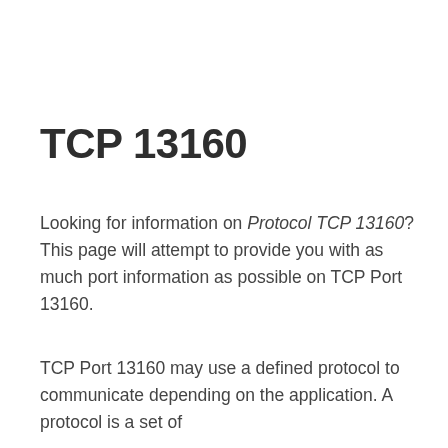TCP 13160
Looking for information on Protocol TCP 13160? This page will attempt to provide you with as much port information as possible on TCP Port 13160.
TCP Port 13160 may use a defined protocol to communicate depending on the application. A protocol is a set of